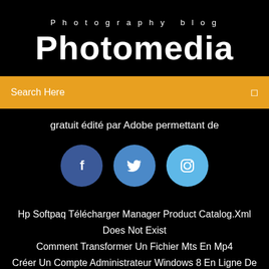Photography blog
Photomedia
Search Here
gratuit édité par Adobe permettant de
[Figure (illustration): Three social media icon circles: Facebook (dark blue), Twitter (medium blue), Instagram (light blue)]
Hp Softpaq Télécharger Manager Product Catalog.Xml Does Not Exist
Comment Transformer Un Fichier Mts En Mp4
Créer Un Compte Administrateur Windows 8 En Ligne De